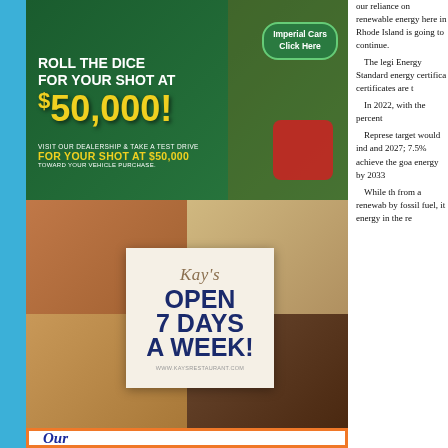[Figure (photo): Casino dice advertisement: ROLL THE DICE FOR YOUR SHOT AT $50,000! Imperial Cars Click Here button. Visit our dealership & take a test drive FOR YOUR SHOT AT $50,000 TOWARD YOUR VEHICLE PURCHASE.]
[Figure (photo): Kay's Restaurant advertisement showing food photos (tacos, soup, sandwich, soup) with overlay box: Kay's OPEN 7 DAYS A WEEK! www.kaysrestaurant.com]
[Figure (photo): Bottom advertisement with orange border showing 'Our' in large blue italic text]
our reliance on renewable energy here in Rhode Island is going to continue. The legislature's Energy Standard required energy certificates. Those certificates are the...
In 2022, with the percentage...
Representative target would increase and 2027; 7.5% achieve the goal energy by 2033
While the from a renewable by fossil fuel, it energy in the re